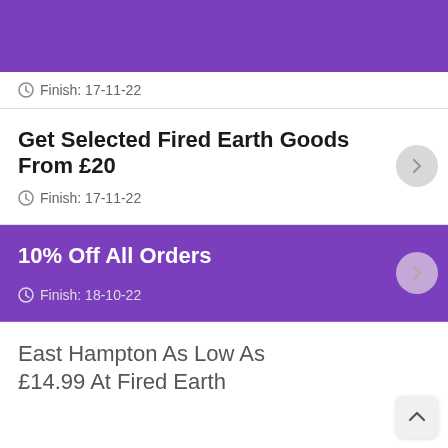[Figure (screenshot): Purple header bar at the top of the page]
Finish: 17-11-22
Get Selected Fired Earth Goods From £20
Finish: 17-11-22
10% Off All Orders
Finish: 18-10-22
East Hampton As Low As £14.99 At Fired Earth